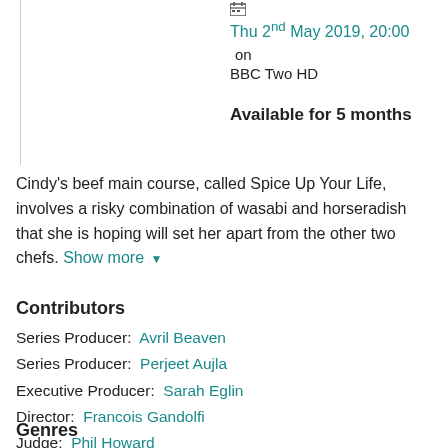Thu 2nd May 2019, 20:00 on BBC Two HD
Available for 5 months
Cindy's beef main course, called Spice Up Your Life, involves a risky combination of wasabi and horseradish that she is hoping will set her apart from the other two chefs. Show more
Contributors
Series Producer: Avril Beaven
Series Producer: Perjeet Aujla
Executive Producer: Sarah Eglin
Director: Francois Gandolfi
Judge: Phil Howard
Genres